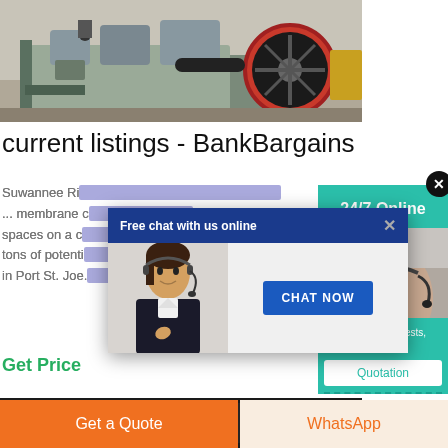[Figure (photo): Industrial machinery photo showing a large crusher or compressor machine with a red pulley wheel in an industrial setting]
current listings - BankBargains
Suwannee Ri... ... membrane c... spaces on a c... tons of potenti... in Port St. Joe...
Get Price
[Figure (photo): Close-up photo of industrial machine parts with black rubber belts/gears]
[Figure (screenshot): Chat popup overlay with blue header 'Free chat with us online', woman with headset, and CHAT NOW button]
[Figure (screenshot): Right sidebar showing 24/7 Online support widget with teal background, woman with headset, Have any requests click here, and Quotation button]
Get a Quote
WhatsApp